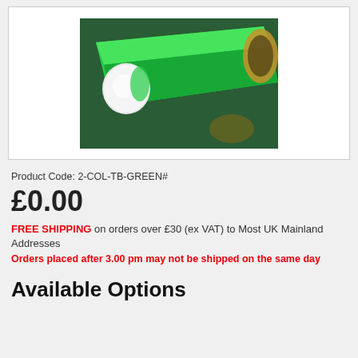[Figure (photo): Green postal tube with a white end cap, photographed on a dark green background. The tube is cylindrical, bright green with a cardboard inner visible at one end, and a white plastic cap leaning against it.]
Product Code: 2-COL-TB-GREEN#
£0.00
FREE SHIPPING on orders over £30 (ex VAT) to Most UK Mainland Addresses
Orders placed after 3.00 pm may not be shipped on the same day
Available Options